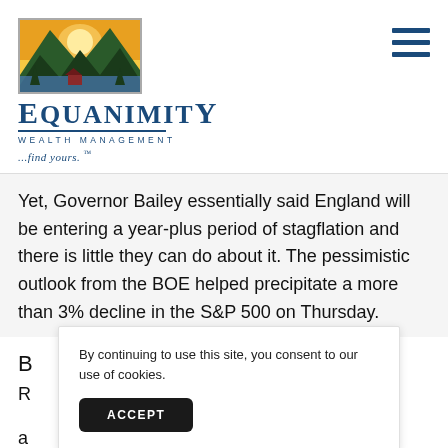[Figure (logo): Equanimity Wealth Management logo with mountain landscape illustration above the company name]
Yet, Governor Bailey essentially said England will be entering a year-plus period of stagflation and there is little they can do about it. The pessimistic outlook from the BOE helped precipitate a more than 3% decline in the S&P 500 on Thursday.
By continuing to use this site, you consent to our use of cookies.